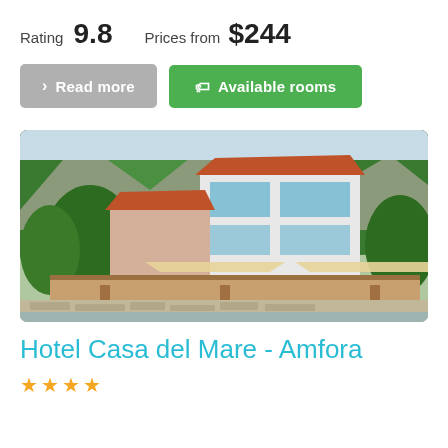Rating 9.8   Prices from $244
Read more
Available rooms
[Figure (photo): Exterior photo of Hotel Casa del Mare - Amfora, a multi-story white hotel with red tile roofs, balconies, and a waterfront terrace with wooden railings, set against a green forested hillside.]
Hotel Casa del Mare - Amfora
★★★★